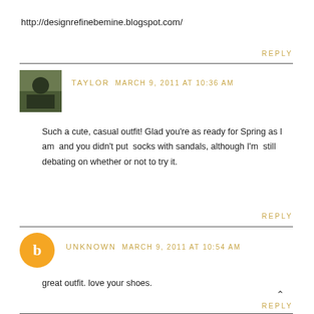http://designrefinebemine.blogspot.com/
REPLY
TAYLOR   MARCH 9, 2011 AT 10:36 AM
Such a cute, casual outfit! Glad you're as ready for Spring as I am and you didn't put socks with sandals, although I'm still debating on whether or not to try it.
REPLY
UNKNOWN   MARCH 9, 2011 AT 10:54 AM
great outfit. love your shoes.
REPLY